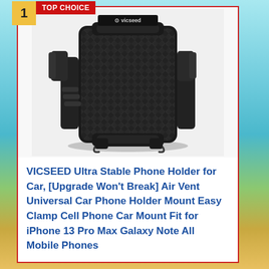[Figure (photo): Product photo of VICSEED car phone holder mount with carbon fiber texture pattern and black clamp arms, shown against white background]
VICSEED Ultra Stable Phone Holder for Car, [Upgrade Won't Break] Air Vent Universal Car Phone Holder Mount Easy Clamp Cell Phone Car Mount Fit for iPhone 13 Pro Max Galaxy Note All Mobile Phones